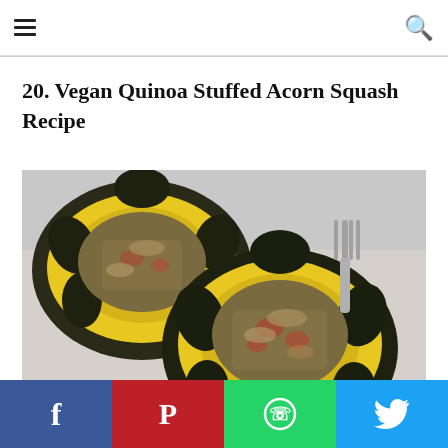≡ [hamburger menu]  [search icon]
20. Vegan Quinoa Stuffed Acorn Squash Recipe
[Figure (photo): Two halves of acorn squash stuffed with quinoa, cranberries, and apple pieces on a plate, with a fork visible in the background]
Facebook | Pinterest | WhatsApp | Twitter social share buttons